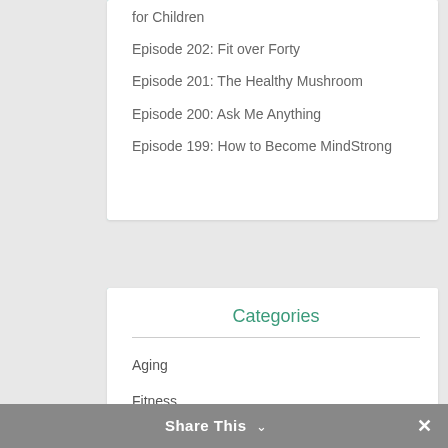for Children
Episode 202: Fit over Forty
Episode 201: The Healthy Mushroom
Episode 200: Ask Me Anything
Episode 199: How to Become MindStrong
Categories
Aging
Fitness
Food
Share This ∨  ✕